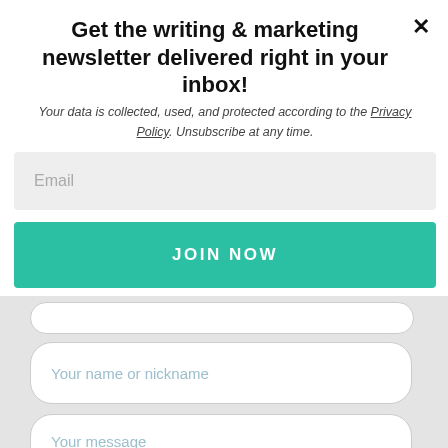Get the writing & marketing newsletter delivered right in your inbox!
Your data is collected, used, and protected according to the Privacy Policy. Unsubscribe at any time.
[Figure (screenshot): Email input field with placeholder text 'Email' on a light grey background]
[Figure (screenshot): Teal JOIN NOW button]
[Figure (screenshot): Contact form section showing partial top input, 'Your name or nickname' input, 'Your message' textarea, and a coral 'Donate $5' button]